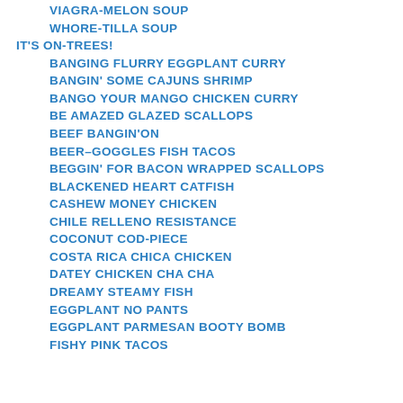VIAGRA-MELON SOUP
WHORE-TILLA SOUP
IT'S ON-TREES!
BANGING FLURRY EGGPLANT CURRY
BANGIN' SOME CAJUNS SHRIMP
BANGO YOUR MANGO CHICKEN CURRY
BE AMAZED GLAZED SCALLOPS
BEEF BANGIN'ON
BEER–GOGGLES FISH TACOS
BEGGIN' FOR BACON WRAPPED SCALLOPS
BLACKENED HEART CATFISH
CASHEW MONEY CHICKEN
CHILE RELLENO RESISTANCE
COCONUT COD-PIECE
COSTA RICA CHICA CHICKEN
DATEY CHICKEN CHA CHA
DREAMY STEAMY FISH
EGGPLANT NO PANTS
EGGPLANT PARMESAN BOOTY BOMB
FISHY PINK TACOS